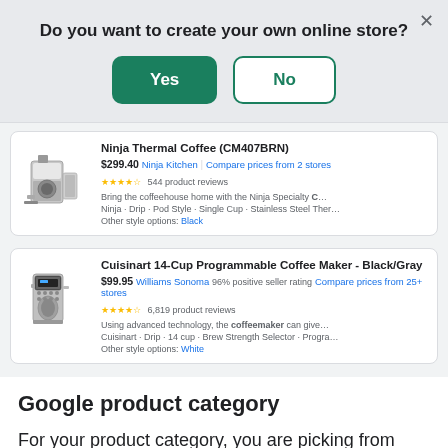Do you want to create your own online store?
Yes | No
[Figure (screenshot): Google Shopping product listing for Ninja Thermal Coffee (CM407BRN) at $299.40 from Ninja Kitchen, with coffee maker image, stars, and description]
[Figure (screenshot): Google Shopping product listing for Cuisinart 14-Cup Programmable Coffee Maker - Black/Gray at $99.95 from Williams Sonoma, with coffee maker image, stars, and description]
Google product category
For your product category, you are picking from Google's taxonomy. Pick the closest fit to